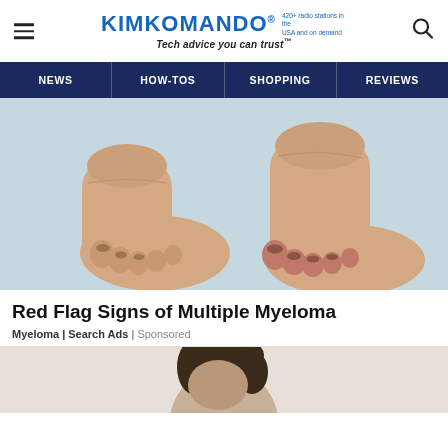KIMKOMANDO® 420+ radio stations in the USA and on demand — Tech advice you can trust™
NEWS | HOW-TOS | SHOPPING | REVIEWS
[Figure (photo): Close-up photo of two swollen human feet on a light blue/grey background, showing redness around the toes.]
Red Flag Signs of Multiple Myeloma
Myeloma | Search Ads | Sponsored
[Figure (photo): Partially visible photo of a person with dark hair, head bowed, set against a light background.]